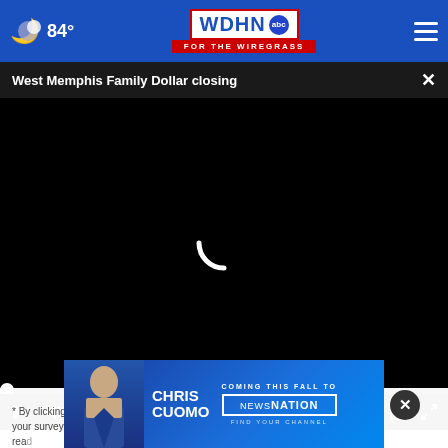84° WDHN abc FOR THE WIREGRASS
West Memphis Family Dollar closing
[Figure (screenshot): Video player showing a black loading screen with a spinning/loading indicator in the center, progress bar at bottom, play button, mute button, time 00:00, captions button, and fullscreen button]
* By clicking "NEXT" you agree to the following: We use cookies your survey answers. If you would like to continue with this survey, please read
[Figure (screenshot): Advertisement banner for Chris Cuomo Coming This Fall to NewsNation - Find Your Channel, showing Chris Cuomo in a blue suit on a blue gradient background]